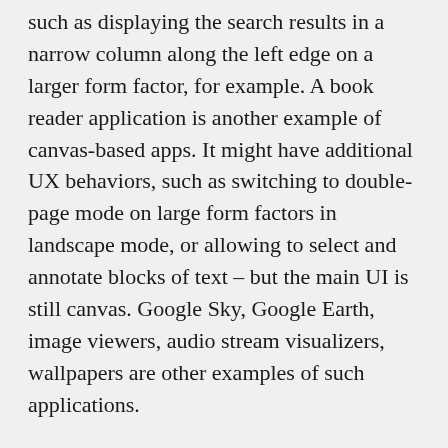such as displaying the search results in a narrow column along the left edge on a larger form factor, for example. A book reader application is another example of canvas-based apps. It might have additional UX behaviors, such as switching to double-page mode on large form factors in landscape mode, or allowing to select and annotate blocks of text – but the main UI is still canvas. Google Sky, Google Earth, image viewers, audio stream visualizers, wallpapers are other examples of such applications.
The main focus of this series is on applications